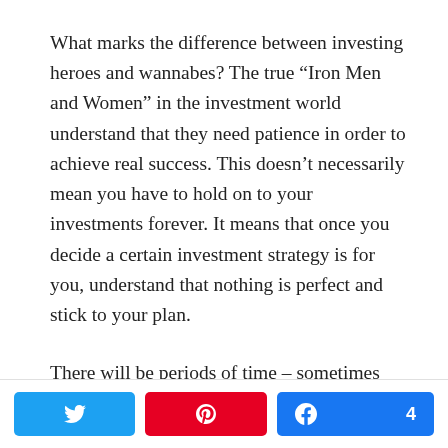What marks the difference between investing heroes and wannabes? The true “Iron Men and Women” in the investment world understand that they need patience in order to achieve real success. This doesn’t necessarily mean you have to hold on to your investments forever. It means that once you decide a certain investment strategy is for you, understand that nothing is perfect and stick to your plan.
There will be periods of time – sometimes long periods – where the way you invest doesn’t work. That is going to happen. The people who build serious wealth through investing understand this and are willing to
[Figure (infographic): Social sharing bar with three buttons: Twitter (blue), Pinterest (red), and Facebook (blue) with count of 4]